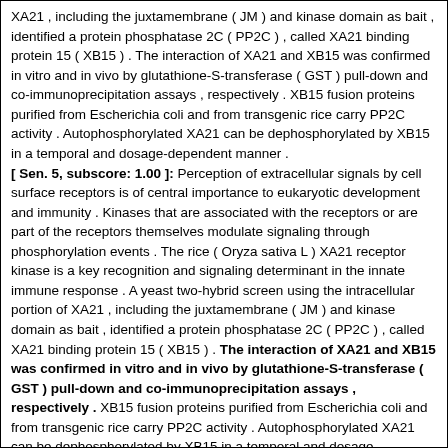XA21 , including the juxtamembrane ( JM ) and kinase domain as bait , identified a protein phosphatase 2C ( PP2C ) , called XA21 binding protein 15 ( XB15 ) . The interaction of XA21 and XB15 was confirmed in vitro and in vivo by glutathione-S-transferase ( GST ) pull-down and co-immunoprecipitation assays , respectively . XB15 fusion proteins purified from Escherichia coli and from transgenic rice carry PP2C activity . Autophosphorylated XA21 can be dephosphorylated by XB15 in a temporal and dosage-dependent manner .
[ Sen. 5, subscore: 1.00 ]: Perception of extracellular signals by cell surface receptors is of central importance to eukaryotic development and immunity . Kinases that are associated with the receptors or are part of the receptors themselves modulate signaling through phosphorylation events . The rice ( Oryza sativa L ) XA21 receptor kinase is a key recognition and signaling determinant in the innate immune response . A yeast two-hybrid screen using the intracellular portion of XA21 , including the juxtamembrane ( JM ) and kinase domain as bait , identified a protein phosphatase 2C ( PP2C ) , called XA21 binding protein 15 ( XB15 ) . The interaction of XA21 and XB15 was confirmed in vitro and in vivo by glutathione-S-transferase ( GST ) pull-down and co-immunoprecipitation assays , respectively . XB15 fusion proteins purified from Escherichia coli and from transgenic rice carry PP2C activity . Autophosphorylated XA21 can be dephosphorylated by XB15 in a temporal and dosage-dependent manner . A serine residue in the XA21 JM domain is required for XB15 binding . Xb15 mutants display a severe cell death phenotype , induction of pathogenesis-related genes , and enhanced XA21-mediated resistance .
[ Sen. 7, subscore: 1.00 ]: The rice ( Oryza sativa L ) XA21 receptor kinase is a key recognition and signaling determinant in the innate immune response . A yeast two-hybrid screen using the intracellular portion of XA21 , including the juxtamembrane ( JM ) and kinase domain